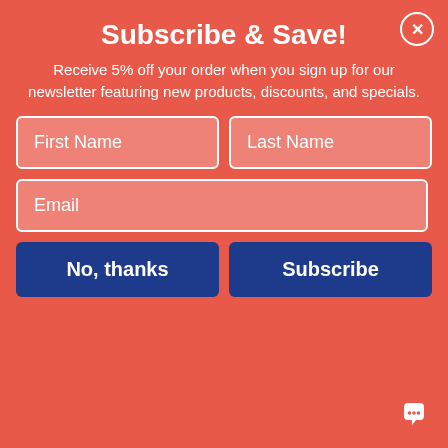Subscribe & Save!
Receive 5% off your order when you sign up for our newsletter featuring new products, discounts, and specials.
[Figure (screenshot): Email subscription form with First Name, Last Name, Email fields and No thanks / Subscribe buttons]
| Property | Value |
| --- | --- |
| Pre-Consumer Recycled Content Percent | 0% |
| Post-Consumer Recycled Content Percent | 0% |
| Total Recycled Content Percent | 0% |
| Disclaimer Statement | This product was made using wood sourced from a certified managed fo |
| UPC | 078731989208 |